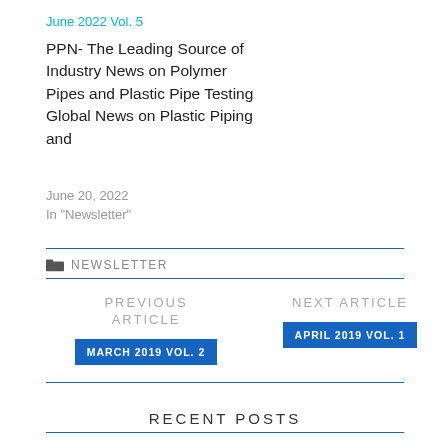June 2022 Vol. 5
PPN- The Leading Source of Industry News on Polymer Pipes and Plastic Pipe Testing Global News on Plastic Piping and
June 20, 2022
In "Newsletter"
NEWSLETTER
PREVIOUS ARTICLE
MARCH 2019 VOL. 2
NEXT ARTICLE
APRIL 2019 VOL. 1
RECENT POSTS